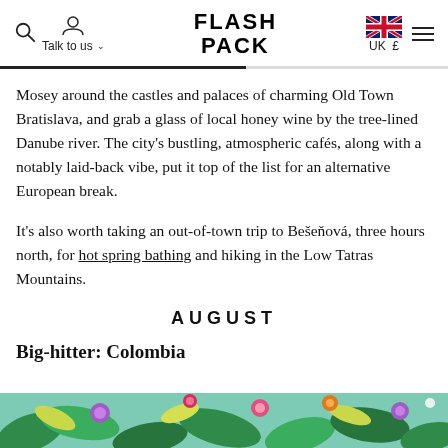Flash Pack | Talk to us | UK £
Mosey around the castles and palaces of charming Old Town Bratislava, and grab a glass of local honey wine by the tree-lined Danube river. The city's bustling, atmospheric cafés, along with a notably laid-back vibe, put it top of the list for an alternative European break.
It's also worth taking an out-of-town trip to Bešeňová, three hours north, for hot spring bathing and hiking in the Low Tatras Mountains.
AUGUST
Big-hitter: Colombia
[Figure (photo): Colorful floral and tropical illustration strip at the bottom of the page]